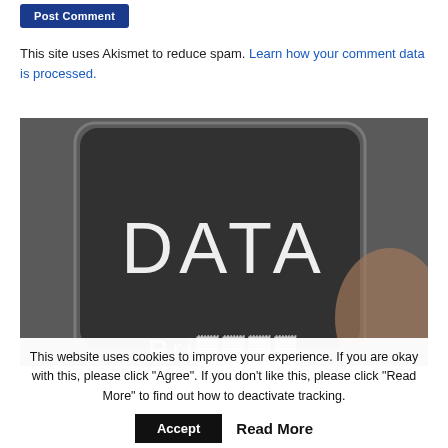[Figure (other): Post Comment button — blue rectangle with white text 'Post Comment']
This site uses Akismet to reduce spam. Learn how your comment data is processed.
[Figure (photo): A hand holding a smartphone with 'DATA' text overlaid in white on a dark screen, with partial text visible at the bottom.]
This website uses cookies to improve your experience. If you are okay with this, please click "Agree". If you don't like this, please click "Read More" to find out how to deactivate tracking.
Accept  Read More